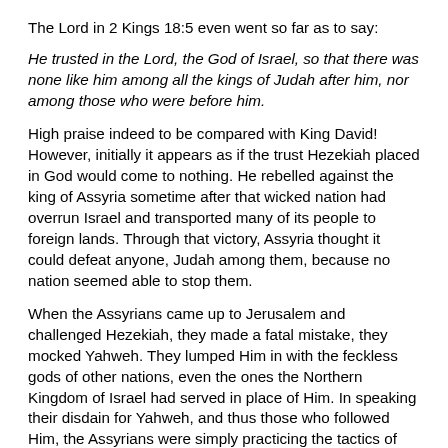The Lord in 2 Kings 18:5 even went so far as to say:
He trusted in the Lord, the God of Israel, so that there was none like him among all the kings of Judah after him, nor among those who were before him.
High praise indeed to be compared with King David!  However, initially it appears as if the trust Hezekiah placed in God would come to nothing.  He rebelled against the king of Assyria sometime after that wicked nation had overrun Israel and transported many of its people to foreign lands.  Through that victory, Assyria thought it could defeat anyone, Judah among them, because no nation seemed able to stop them.
When the Assyrians came up to Jerusalem and challenged Hezekiah, they made a fatal mistake, they mocked Yahweh.  They lumped Him in with the feckless gods of other nations, even the ones the Northern Kingdom of Israel had served in place of Him.  In speaking their disdain for Yahweh, and thus those who followed Him, the Assyrians were simply practicing the tactics of their father – Satan – who always sows doubt and fear.  They taunted Hezekiah and the people of Judah, saying they shouldn't think that Yahweh would help them in any way; why listen to Him and be deceived?